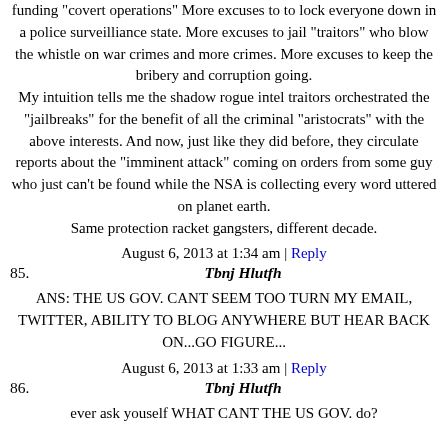funding "covert operations" More excuses to to lock everyone down in a police surveilliance state. More excuses to jail "traitors" who blow the whistle on war crimes and more crimes. More excuses to keep the bribery and corruption going.
My intuition tells me the shadow rogue intel traitors orchestrated the "jailbreaks" for the benefit of all the criminal "aristocrats" with the above interests. And now, just like they did before, they circulate reports about the "imminent attack" coming on orders from some guy who just can't be found while the NSA is collecting every word uttered on planet earth.
Same protection racket gangsters, different decade.
August 6, 2013 at 1:34 am | Reply
85.	Tbnj Hlutfh
ANS: THE US GOV. CANT SEEM TOO TURN MY EMAIL, TWITTER, ABILITY TO BLOG ANYWHERE BUT HEAR BACK ON...GO FIGURE...
August 6, 2013 at 1:33 am | Reply
86.	Tbnj Hlutfh
ever ask youself WHAT CANT THE US GOV. do?